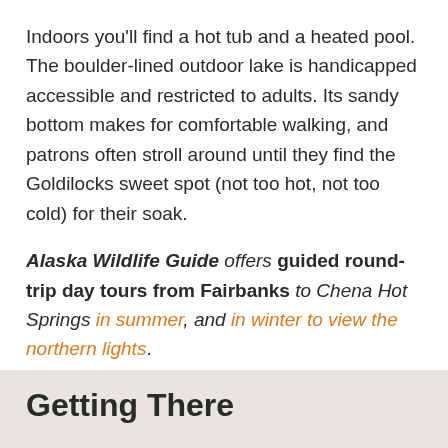Indoors you'll find a hot tub and a heated pool. The boulder-lined outdoor lake is handicapped accessible and restricted to adults. Its sandy bottom makes for comfortable walking, and patrons often stroll around until they find the Goldilocks sweet spot (not too hot, not too cold) for their soak.
Alaska Wildlife Guide offers guided round-trip day tours from Fairbanks to Chena Hot Springs in summer, and in winter to view the northern lights.
Getting There